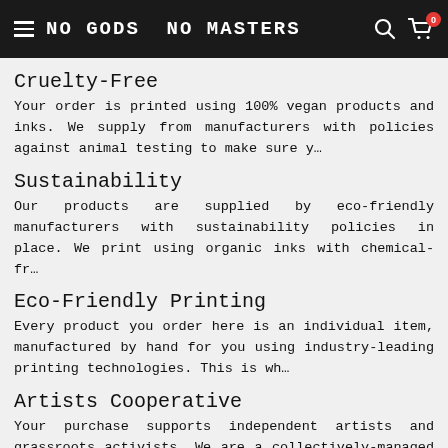NO GODS NO MASTERS
Cruelty-Free
Your order is printed using 100% vegan products and inks. We supply from manufacturers with policies against animal testing to make sure y…
Sustainability
Our products are supplied by eco-friendly manufacturers with sustainability policies in place. We print using organic inks with chemical-fr…
Eco-Friendly Printing
Every product you order here is an individual item, manufactured by hand for you using industry-leading printing technologies. This is wh…
Artists Cooperative
Your purchase supports independent artists and grassroots activists. We are a collectively-managed cooperative of artists using art as a means…